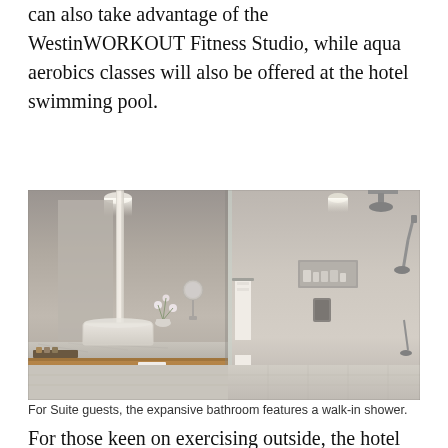can also take advantage of the WestinWORKOUT Fitness Studio, while aqua aerobics classes will also be offered at the hotel swimming pool.
[Figure (photo): Hotel suite bathroom with marble vanity, large mirror, white orchid flowers, vessel sink, open wooden shelving with towels, and a walk-in shower with glass partition on the right, all finished in grey stone tiles.]
For Suite guests, the expansive bathroom features a walk-in shower.
For those keen on exercising outside, the hotel has also devised five and eight kilometre running routes through